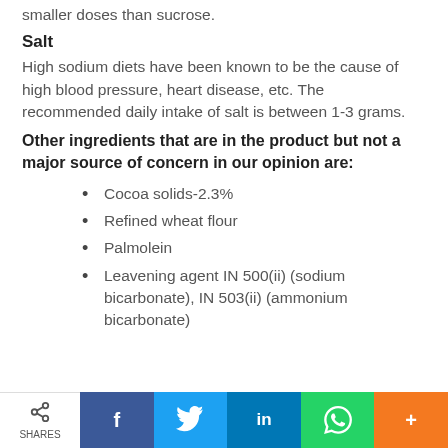smaller doses than sucrose.
Salt
High sodium diets have been known to be the cause of high blood pressure, heart disease, etc. The recommended daily intake of salt is between 1-3 grams.
Other ingredients that are in the product but not a major source of concern in our opinion are:
Cocoa solids-2.3%
Refined wheat flour
Palmolein
Leavening agent IN 500(ii) (sodium bicarbonate), IN 503(ii) (ammonium bicarbonate)
SHARES  f  in  [whatsapp]  +